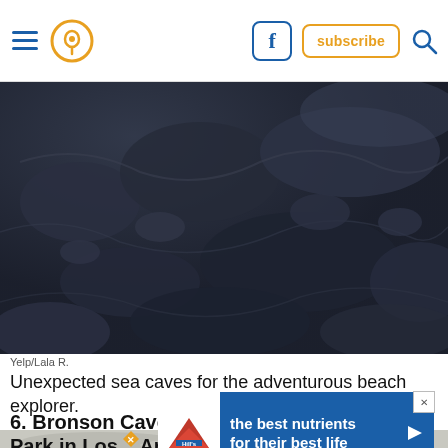Navigation header with hamburger menu, pin/location icon, Facebook icon, subscribe button, search icon
[Figure (photo): Close-up photograph of dark blue-grey rocky sea cave surface with textured rippled formations]
Yelp/Lala R.
Unexpected sea caves for the adventurous beach explorer.
6. Bronson Caves in Griffith Park in Los Angeles
[Figure (infographic): Hill's Pet Nutrition advertisement banner with logo and text 'the best nutrients for their best life']
[Figure (photo): Partial aerial or ground view of rocky surface at bottom of page]